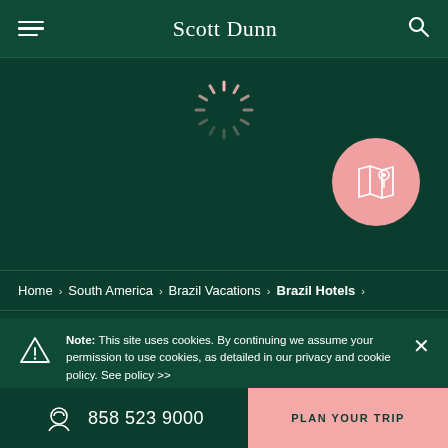Scott Dunn
[Figure (illustration): Pink loading spinner / radial burst icon centered near top of dark green background]
[Figure (illustration): Pink circle button with white map/location pin icon, positioned upper right area]
Home > South America > Brazil Vacations > Brazil Hotels >
Note: This site uses cookies. By continuing we assume your permission to use cookies, as detailed in our privacy and cookie policy. See policy >>
858 523 9000
PLAN YOUR TRIP